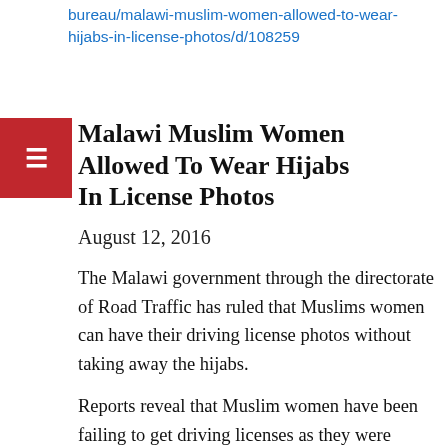bureau/malawi-muslim-women-allowed-to-wear-hijabs-in-license-photos/d/108259
Malawi Muslim Women Allowed To Wear Hijabs In License Photos
August 12, 2016
The Malawi government through the directorate of Road Traffic has ruled that Muslims women can have their driving license photos without taking away the hijabs.
Reports reveal that Muslim women have been failing to get driving licenses as they were forced to take off the hijabs for photos a development that was seen to go against the Islamic faith.
Commenting on the matter, director of Road Traffic Jack M...